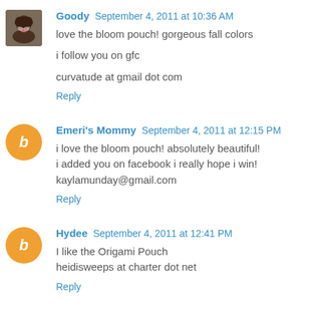Goody September 4, 2011 at 10:36 AM
love the bloom pouch! gorgeous fall colors
i follow you on gfc
curvatude at gmail dot com
Reply
Emeri's Mommy September 4, 2011 at 12:15 PM
i love the bloom pouch! absolutely beautiful!
i added you on facebook i really hope i win!
kaylamunday@gmail.com
Reply
Hydee September 4, 2011 at 12:41 PM
I like the Origami Pouch
heidisweeps at charter dot net
Reply